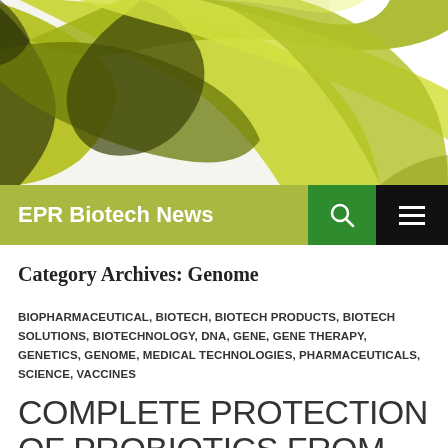[Figure (illustration): Abstract 3D rendered DNA double helix ribbon in yellow-green color on white background]
EPR Biotech News
Category Archives: Genome
BIOPHARMACEUTICAL, BIOTECH, BIOTECH PRODUCTS, BIOTECH SOLUTIONS, BIOTECHNOLOGY, DNA, GENE, GENE THERAPY, GENETICS, GENOME, MEDICAL TECHNOLOGIES, PHARMACEUTICALS, SCIENCE, VACCINES
COMPLETE PROTECTION OF PROBIOTICS FROM DESTRUCTION BY